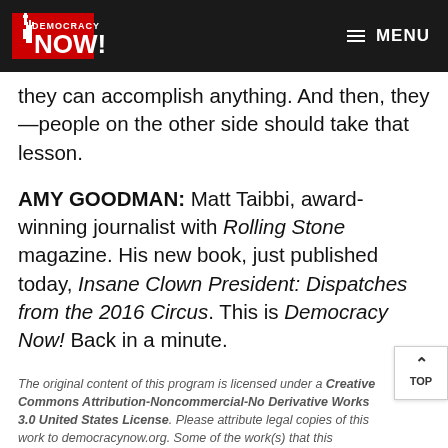Democracy Now! MENU
they can accomplish anything. And then, they—people on the other side should take that lesson.
AMY GOODMAN: Matt Taibbi, award-winning journalist with Rolling Stone magazine. His new book, just published today, Insane Clown President: Dispatches from the 2016 Circus. This is Democracy Now! Back in a minute.
The original content of this program is licensed under a Creative Commons Attribution-Noncommercial-No Derivative Works 3.0 United States License. Please attribute legal copies of this work to democracynow.org. Some of the work(s) that this program incorporates, however, may be separately licensed. For further information or additional permissions, contact us.